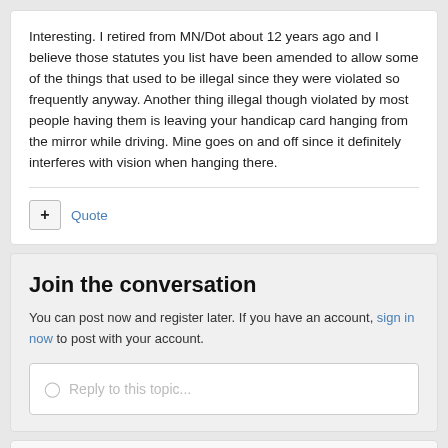Interesting. I retired from MN/Dot about 12 years ago and I believe those statutes you list have been amended to allow some of the things that used to be illegal since they were violated so frequently anyway. Another thing illegal though violated by most people having them is leaving your handicap card hanging from the mirror while driving. Mine goes on and off since it definitely interferes with vision when hanging there.
+ Quote
Join the conversation
You can post now and register later. If you have an account, sign in now to post with your account.
Reply to this topic...
Followers 0